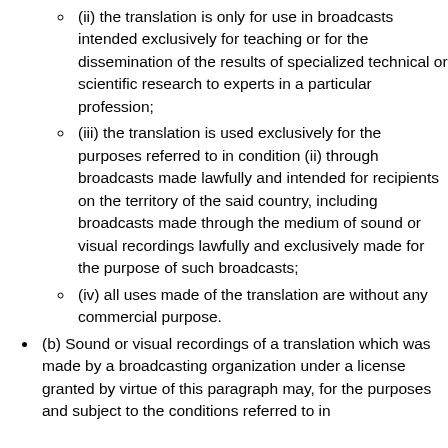(ii) the translation is only for use in broadcasts intended exclusively for teaching or for the dissemination of the results of specialized technical or scientific research to experts in a particular profession;
(iii) the translation is used exclusively for the purposes referred to in condition (ii) through broadcasts made lawfully and intended for recipients on the territory of the said country, including broadcasts made through the medium of sound or visual recordings lawfully and exclusively made for the purpose of such broadcasts;
(iv) all uses made of the translation are without any commercial purpose.
(b) Sound or visual recordings of a translation which was made by a broadcasting organization under a license granted by virtue of this paragraph may, for the purposes and subject to the conditions referred to in